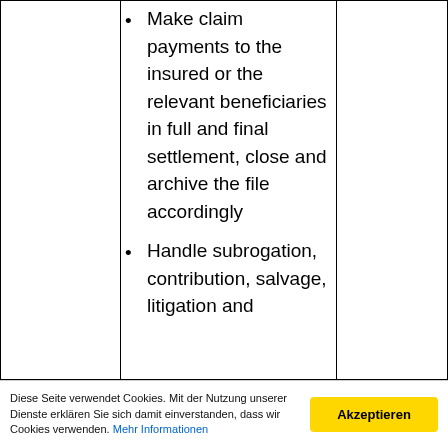Make claim payments to the insured or the relevant beneficiaries in full and final settlement, close and archive the file accordingly
Handle subrogation, contribution, salvage, litigation and
Diese Seite verwendet Cookies. Mit der Nutzung unserer Dienste erklären Sie sich damit einverstanden, dass wir Cookies verwenden. Mehr Informationen